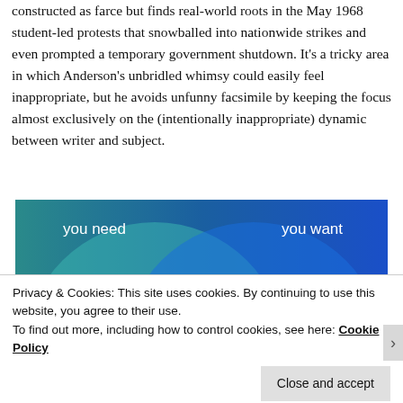constructed as farce but finds real-world roots in the May 1968 student-led protests that snowballed into nationwide strikes and even prompted a temporary government shutdown. It's a tricky area in which Anderson's unbridled whimsy could easily feel inappropriate, but he avoids unfunny facsimile by keeping the focus almost exclusively on the (intentionally inappropriate) dynamic between writer and subject.
[Figure (infographic): Partial Venn diagram showing two overlapping circles on a teal/blue gradient background. Left circle labeled 'you need', right circle labeled 'you want'. The diagram is partially visible, cut off at top and bottom.]
Privacy & Cookies: This site uses cookies. By continuing to use this website, you agree to their use.
To find out more, including how to control cookies, see here: Cookie Policy